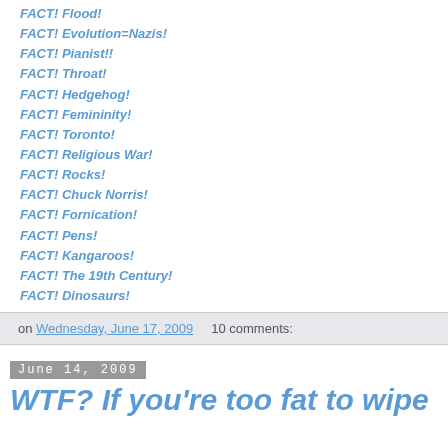FACT! Flood!
FACT! Evolution=Nazis!
FACT! Pianist!!
FACT! Throat!
FACT! Hedgehog!
FACT! Femininity!
FACT! Toronto!
FACT! Religious War!
FACT! Rocks!
FACT! Chuck Norris!
FACT! Fornication!
FACT! Pens!
FACT! Kangaroos!
FACT! The 19th Century!
FACT! Dinosaurs!
on Wednesday, June 17, 2009    10 comments:
June 14, 2009
WTF? If you're too fat to wipe